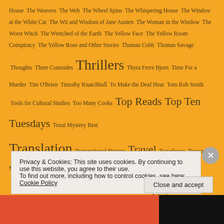House  The Weavers  The Web  The Wheel Spins  The Whispering House  The Window at the White Cat  The Wit and Wisdom of Jane Austen  The Woman in the Window  The Worst Witch  The Wretched of the Earth  The Yellow Face  The Yellow Room Conspiracy  The Yellow Rose and Other Stories  Thomas Cobb  Thomas Savage  Thoughts  Three Comrades  Thrillers  Thyra Ferre Bjorn  Time For a Murder  Tim O'Brien  Timothy Knatchbull  To Make the Deaf Hear  Tom Rob Smith  Tools for Cultural Studies  Too Many Cooks  Top Reads  Top Ten Tuesdays  Tozai Mystery Best  Translation  Transnational History  Travel  Travelogue  Treason in My Breast  Trent's Last Case  Twelve Best  Twelve Red Herrings  Ulrich Peltzer  Umbrellas and their History  Understanding Bhagat Singh  Under the Shadow of Gallows  Unholy Dying  Up at the Villa  Up the Garden Path  Upton Sinclair  Urdu  Urdu Literature
Privacy & Cookies: This site uses cookies. By continuing to use this website, you agree to their use.
To find out more, including how to control cookies, see here: Cookie Policy
Close and accept